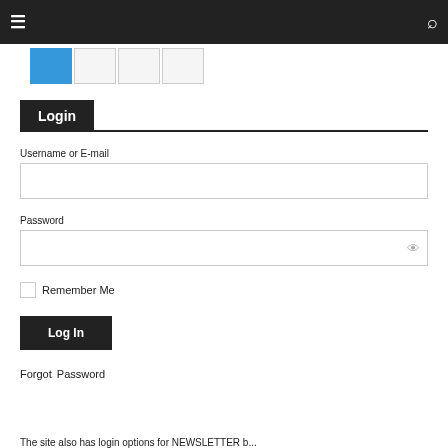[Figure (screenshot): Dark navigation bar with hamburger menu icon on left and search icon on right]
[Figure (screenshot): Tab row with four tabs, first tab active (blue), others inactive]
Login
Username or E-mail
Password
Remember Me
Log In
Forgot Password
The site also has login options for NEWSLETTER b...